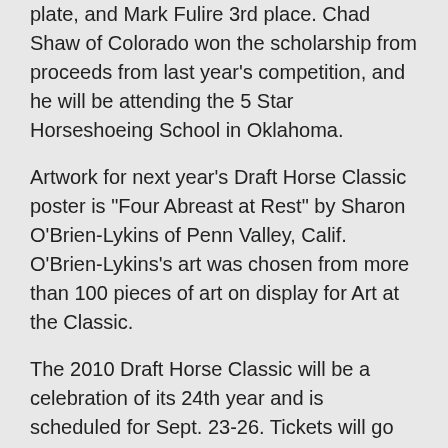plate, and Mark Fulire 3rd place. Chad Shaw of Colorado won the scholarship from proceeds from last year's competition, and he will be attending the 5 Star Horseshoeing School in Oklahoma.
Artwork for next year's Draft Horse Classic poster is "Four Abreast at Rest" by Sharon O'Brien-Lykins of Penn Valley, Calif. O'Brien-Lykins's art was chosen from more than 100 pieces of art on display for Art at the Classic.
The 2010 Draft Horse Classic will be a celebration of its 24th year and is scheduled for Sept. 23-26. Tickets will go on sale May 1, 2010.
For information, visit:
http://www.nevadacountyfair.com/dhc/
Be Sociable, Share!